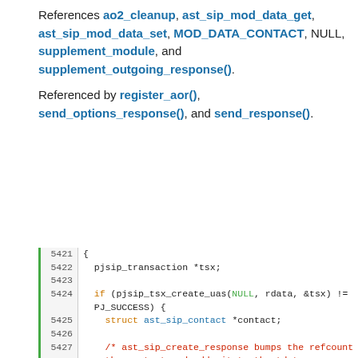References ao2_cleanup, ast_sip_mod_data_get, ast_sip_mod_data_set, MOD_DATA_CONTACT, NULL, supplement_module, and supplement_outgoing_response().
Referenced by register_aor(), send_options_response(), and send_response().
[Figure (screenshot): Source code listing lines 5421-5438 showing C code for a PJSIP transaction function with comments and function calls]